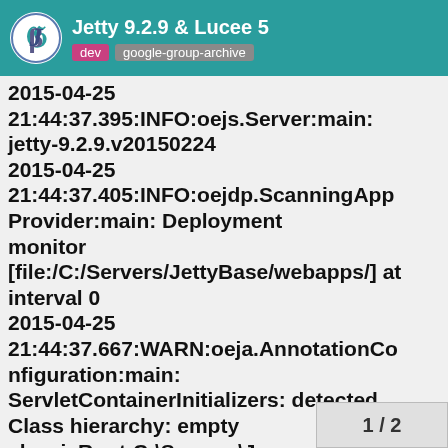Jetty 9.2.9 & Lucee 5 | dev | google-group-archive
2015-04-25 21:44:37.395:INFO:oejs.Server:main: jetty-9.2.9.v20150224
2015-04-25 21:44:37.405:INFO:oejdp.ScanningAppProvider:main: Deployment monitor [file:/C:/Servers/JettyBase/webapps/] at interval 0
2015-04-25 21:44:37.667:WARN:oeja.AnnotationConfiguration:main: ServletContainerInitializers: detected. Class hierarchy: empty classicRoot:C:\Servers\Je
1 / 2